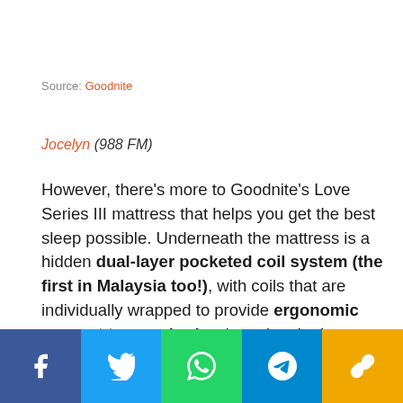Source: Goodnite
Jocelyn (988 FM)
However, there's more to Goodnite's Love Series III mattress that helps you get the best sleep possible. Underneath the mattress is a hidden dual-layer pocketed coil system (the first in Malaysia too!), with coils that are individually wrapped to provide ergonomic support to your body when sleeping!
Each coil actually adapts to your sleeping position, so that every part of your body (head, shoulders, lumbar,
[Figure (infographic): Social media share bar with icons for Facebook, Twitter, WhatsApp, Telegram, and a link/copy button]